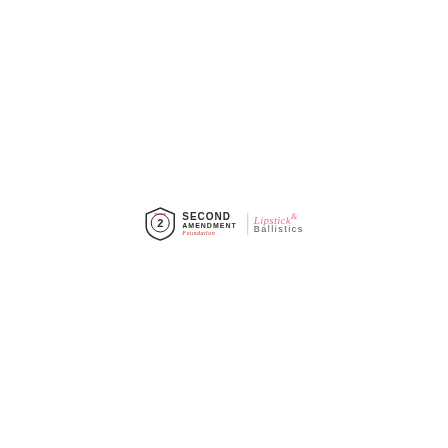[Figure (logo): Combined logo: Second Amendment Foundation shield icon with 'SECOND AMENDMENT' text in dark/bold and stylized script foundation text in red, alongside 'Lipstick & Ballistics' text where 'Lipstick' is in pink italic script and 'Ballistics' is in grey sans-serif lettering]